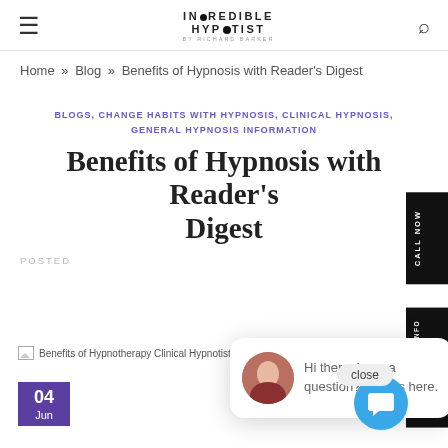INCREDIBLE HYPNOTIST BY RICHARD BARKER
Home » Blog » Benefits of Hypnosis with Reader's Digest
BLOGS, CHANGE HABITS WITH HYPNOSIS, CLINICAL HYPNOSIS, GENERAL HYPNOSIS INFORMATION
Benefits of Hypnosis with Reader's Digest
POSTED
[Figure (photo): Benefits of Hypnotherapy Clinical Hypnotist image placeholder]
04 Jun
[Figure (other): Chat popup with avatar and text: Hi there, have a question? Text us here. With a close button.]
[Figure (other): Blue circular chat bubble button]